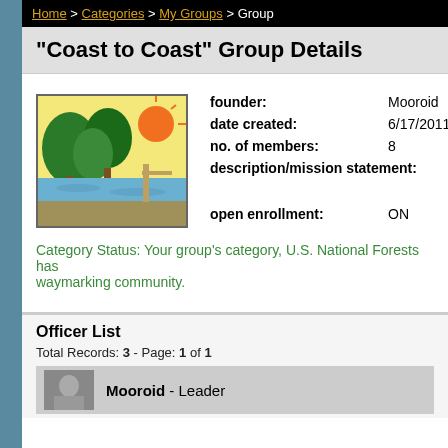Home > Categories > My Groups > Group
"Coast to Coast" Group Details
founder: Mooroid
date created: 6/17/2011
no. of members: 8
description/mission statement:
open enrollment: ON
Category Status: Your group's category, U.S. National Forests has waymarking community.
Officer List
Total Records: 3 - Page: 1 of 1
Mooroid - Leader